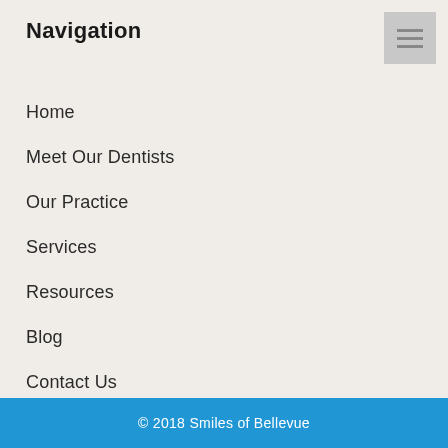Navigation
Home
Meet Our Dentists
Our Practice
Services
Resources
Blog
Contact Us
© 2018 Smiles of Bellevue